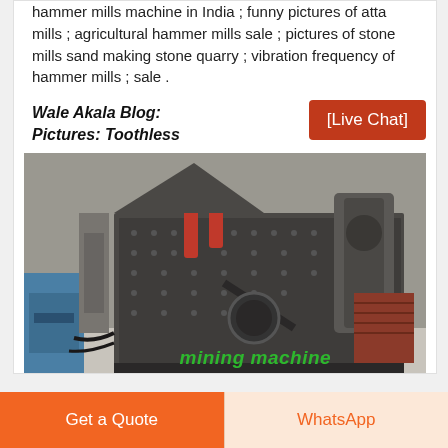hammer mills machine in India ; funny pictures of atta mills ; agricultural hammer mills sale ; pictures of stone mills sand making stone quarry ; vibration frequency of hammer mills ; sale .
Wale Akala Blog: Pictures: Toothless
[Figure (photo): Large industrial impact crusher/hammer mill machine in a factory setting, dark grey metal body with red hydraulic cylinders, circular access panel visible. Another cylindrical mill machine visible in background right. Blue machinery visible at left.]
mining machine
[Live Chat]
Get a Quote
WhatsApp